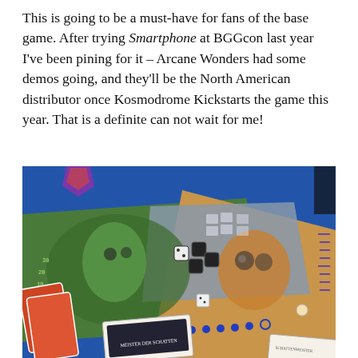This is going to be a must-have for fans of the base game. After trying Smartphone at BGGcon last year I've been pining for it – Arcane Wonders had some demos going, and they'll be the North American distributor once Kosmodrome Kickstarts the game this year. That is a definite can not wait for me!
[Figure (photo): A board game in progress on a blue table surface, showing illustrated game boards with a green monster/creature design and an owl/brown creature design, scattered dice, and several cards including one labeled 'Meister der Schatten'.]